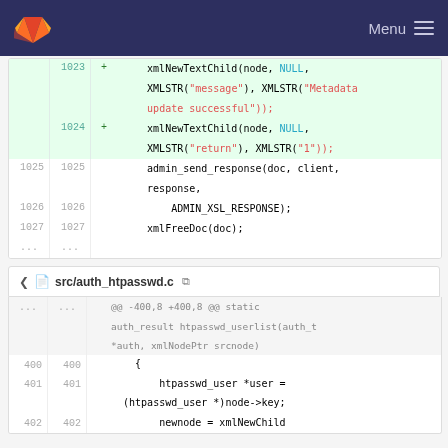GitLab — Menu
[Figure (screenshot): Code diff showing lines 1023-1027 with added xmlNewTextChild calls and normal admin_send_response/xmlFreeDoc lines]
v src/auth_htpasswd.c (copy icon)
[Figure (screenshot): Code diff showing @@ -400,8 +400,8 @@ static auth_result htpasswd_userlist(auth_t *auth, xmlNodePtr srcnode) with lines 400-402]